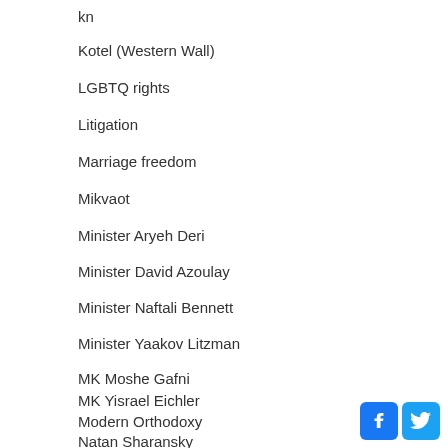kn
Kotel (Western Wall)
LGBTQ rights
Litigation
Marriage freedom
Mikvaot
Minister Aryeh Deri
Minister David Azoulay
Minister Naftali Bennett
Minister Yaakov Litzman
MK Moshe Gafni
MK Yisrael Eichler
Modern Orthodoxy
Natan Sharansky
[Figure (logo): Facebook and Twitter social media icons in blue square buttons]